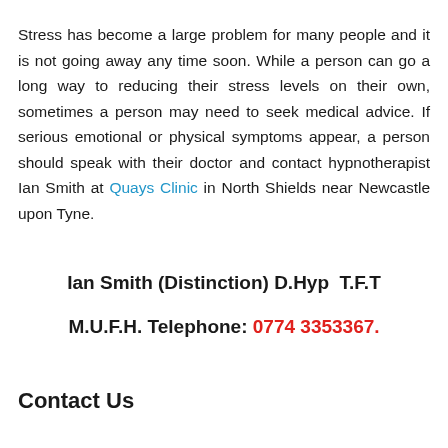Stress has become a large problem for many people and it is not going away any time soon. While a person can go a long way to reducing their stress levels on their own, sometimes a person may need to seek medical advice. If serious emotional or physical symptoms appear, a person should speak with their doctor and contact hypnotherapist Ian Smith at Quays Clinic in North Shields near Newcastle upon Tyne.
Ian Smith (Distinction) D.Hyp  T.F.T
M.U.F.H. Telephone: 0774 3353367.
Contact Us